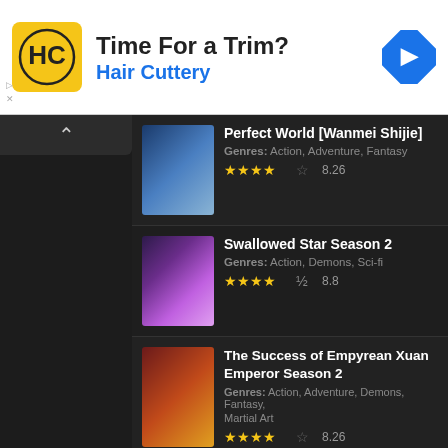[Figure (infographic): Hair Cuttery advertisement banner with HC logo, 'Time For a Trim?' heading, 'Hair Cuttery' subtitle, and blue diamond navigation arrow icon]
3 | Perfect World [Wanmei Shijie] | Genres: Action, Adventure, Fantasy | 8.26
4 | Swallowed Star Season 2 | Genres: Action, Demons, Sci-fi | 8.8
5 | The Success of Empyrean Xuan Emperor Season 2 | Genres: Action, Adventure, Demons, Fantasy, Martial Art | 8.26
6 | Word of Honor | Genres: ...